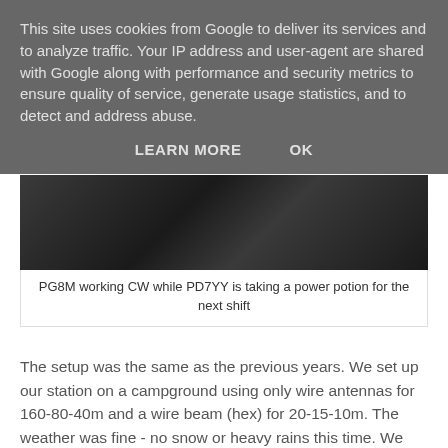This site uses cookies from Google to deliver its services and to analyze traffic. Your IP address and user-agent are shared with Google along with performance and security metrics to ensure quality of service, generate usage statistics, and to detect and address abuse.
LEARN MORE   OK
[Figure (photo): Indoor photo showing a person working at a radio station setup]
PG8M working CW while PD7YY is taking a power potion for the next shift
The setup was the same as the previous years. We set up our station on a campground using only wire antennas for 160-80-40m and a wire beam (hex) for 20-15-10m. The weather was fine - no snow or heavy rains this time. We did get some storm which meant we had to lower the hexbeam during the night. Luckily by the time we needed it again in the morning the wind had died down.